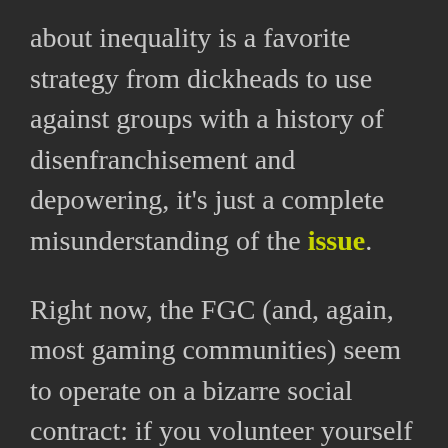about inequality is a favorite strategy from dickheads to use against groups with a history of disenfranchisement and depowering, it's just a complete misunderstanding of the issue.
Right now, the FGC (and, again, most gaming communities) seem to operate on a bizarre social contract: if you volunteer yourself to participate in this community, you have to accept the responsibility that you are going to get harassed. In other words, being an active member in the community means accepting a pre-existing notion that cis and trans women, LGBT-identifying folks, and others just have it worse, and that's how it is. We can't fix it, we can't stop it, it's just a way